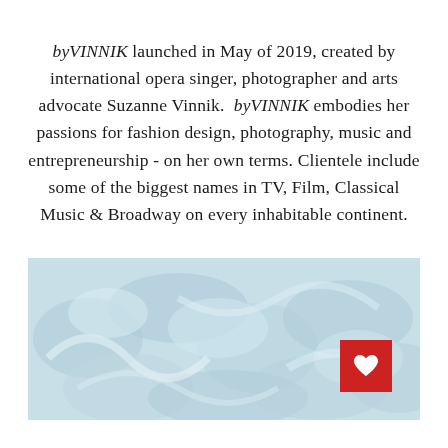byVINNIK launched in May of 2019, created by international opera singer, photographer and arts advocate Suzanne Vinnik. byVINNIK embodies her passions for fashion design, photography, music and entrepreneurship - on her own terms. Clientele include some of the biggest names in TV, Film, Classical Music & Broadway on every inhabitable continent.
[Figure (photo): A light blue-tinted blurred photo showing abstract shapes, possibly fabric or fashion items, serving as a decorative background image.]